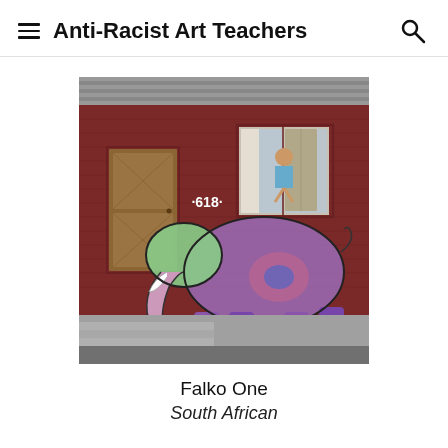Anti-Racist Art Teachers
[Figure (photo): Street art mural of a colorful painted elephant (green, purple, pink tones with black outlines) on a dark red brick building wall. A child sits on the elephant's back in a window opening. The number 618 is painted on the wall. Wooden door and concrete steps visible on the left side.]
Falko One
South African